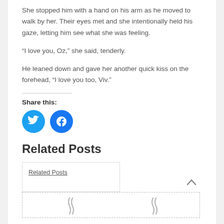She stopped him with a hand on his arm as he moved to walk by her. Their eyes met and she intentionally held his gaze, letting him see what she was feeling.
“I love you, Oz,” she said, tenderly.
He leaned down and gave her another quick kiss on the forehead, “I love you too, Viv.”
Share this:
[Figure (infographic): Two circular social media share buttons: Twitter (blue bird icon) and Facebook (blue F icon)]
Related Posts
Related Posts
[Figure (illustration): Two squiggle/wave placeholder illustrations at the bottom of the page]